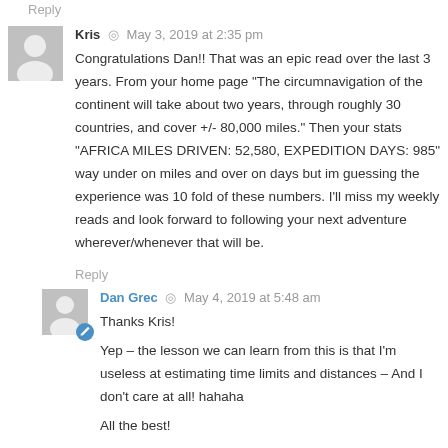Reply
Kris  ◎  May 3, 2019 at 2:35 pm
Congratulations Dan!! That was an epic read over the last 3 years. From your home page "The circumnavigation of the continent will take about two years, through roughly 30 countries, and cover +/- 80,000 miles." Then your stats "AFRICA MILES DRIVEN: 52,580, EXPEDITION DAYS: 985" way under on miles and over on days but im guessing the experience was 10 fold of these numbers. I'll miss my weekly reads and look forward to following your next adventure wherever/whenever that will be.
Reply
Dan Grec  ◎  May 4, 2019 at 5:48 am
Thanks Kris!

Yep – the lesson we can learn from this is that I'm useless at estimating time limits and distances – And I don't care at all! hahaha

All the best!

Dan